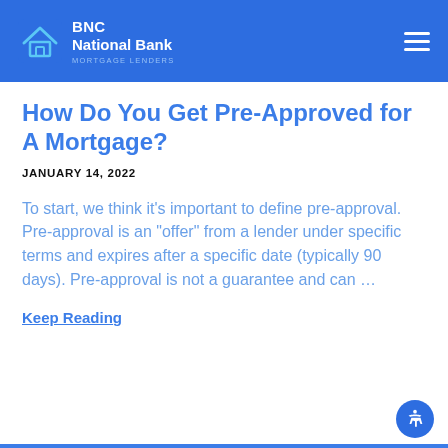BNC National Bank MORTGAGE LENDERS
How Do You Get Pre-Approved for A Mortgage?
JANUARY 14, 2022
To start, we think it’s important to define pre-approval. Pre-approval is an “offer” from a lender under specific terms and expires after a specific date (typically 90 days). Pre-approval is not a guarantee and can …
Keep Reading